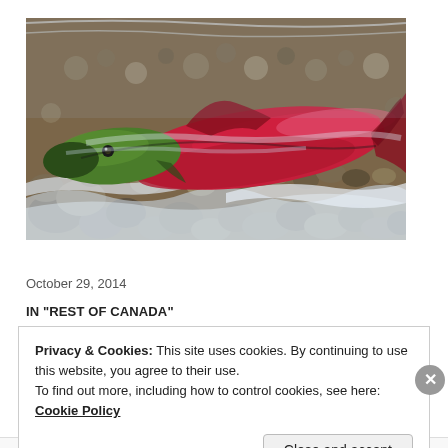[Figure (photo): Close-up photograph of a sockeye salmon in shallow water over rocky riverbed. The fish has a distinctive green head and bright red body, partially submerged in clear water with pebbles visible.]
Run salmon run
October 29, 2014
IN "REST OF CANADA"
Privacy & Cookies: This site uses cookies. By continuing to use this website, you agree to their use.
To find out more, including how to control cookies, see here: Cookie Policy
Close and accept